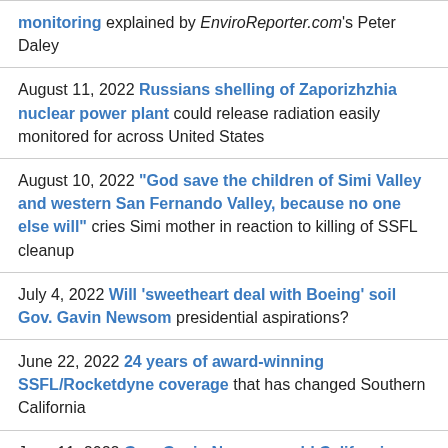monitoring explained by EnviroReporter.com's Peter Daley
August 11, 2022 Russians shelling of Zaporizhzhia nuclear power plant could release radiation easily monitored for across United States
August 10, 2022 "God save the children of Simi Valley and western San Fernando Valley, because no one else will" cries Simi mother in reaction to killing of SSFL cleanup
July 4, 2022 Will 'sweetheart deal with Boeing' soil Gov. Gavin Newsom presidential aspirations?
June 22, 2022 24 years of award-winning SSFL/Rocketdyne coverage that has changed Southern California
June 11, 2022 Gov. Gavin Newsom sold Californians "down the river" relieving Boeing of SSFL cleanup angling for the presidency says longtime lab critic
June 8, 2022 ...